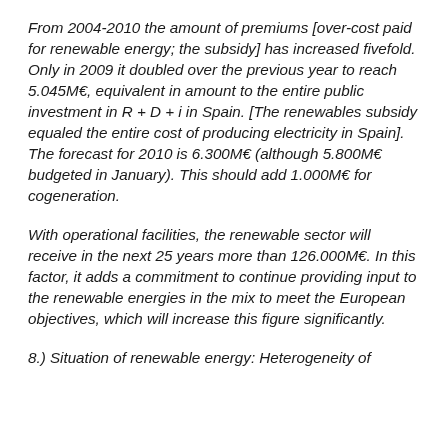From 2004-2010 the amount of premiums [over-cost paid for renewable energy; the subsidy] has increased fivefold. Only in 2009 it doubled over the previous year to reach 5.045M€, equivalent in amount to the entire public investment in R + D + i in Spain. [The renewables subsidy equaled the entire cost of producing electricity in Spain]. The forecast for 2010 is 6.300M€ (although 5.800M€ budgeted in January). This should add 1.000M€ for cogeneration.
With operational facilities, the renewable sector will receive in the next 25 years more than 126.000M€. In this factor, it adds a commitment to continue providing input to the renewable energies in the mix to meet the European objectives, which will increase this figure significantly.
8.) Situation of renewable energy: Heterogeneity of